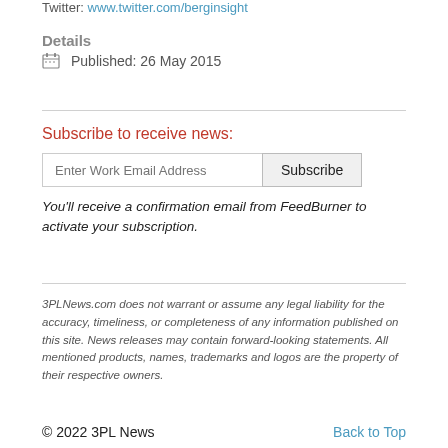Twitter: www.twitter.com/berginsight
Details
Published: 26 May 2015
Subscribe to receive news:
Enter Work Email Address
You'll receive a confirmation email from FeedBurner to activate your subscription.
3PLNews.com does not warrant or assume any legal liability for the accuracy, timeliness, or completeness of any information published on this site. News releases may contain forward-looking statements. All mentioned products, names, trademarks and logos are the property of their respective owners.
© 2022 3PL News    Back to Top